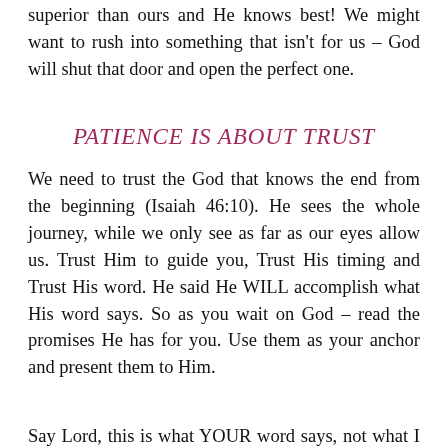superior than ours and He knows best! We might want to rush into something that isn't for us – God will shut that door and open the perfect one.
PATIENCE IS ABOUT TRUST
We need to trust the God that knows the end from the beginning (Isaiah 46:10). He sees the whole journey, while we only see as far as our eyes allow us. Trust Him to guide you, Trust His timing and Trust His word. He said He WILL accomplish what His word says. So as you wait on God – read the promises He has for you. Use them as your anchor and present them to Him.
Say Lord, this is what YOUR word says, not what I say. Accomplish this in my life, because I know